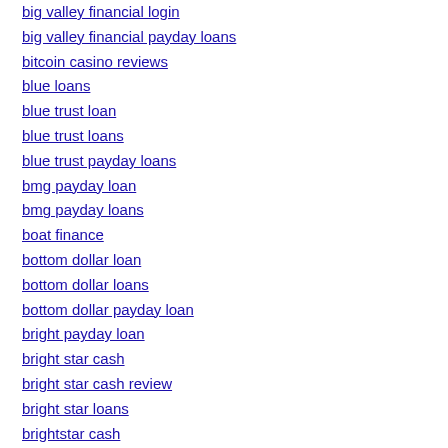big valley financial login
big valley financial payday loans
bitcoin casino reviews
blue loans
blue trust loan
blue trust loans
blue trust payday loans
bmg payday loan
bmg payday loans
boat finance
bottom dollar loan
bottom dollar loans
bottom dollar payday loan
bright payday loan
bright star cash
bright star cash review
bright star loans
brightstar cash
brookwood loans promo code